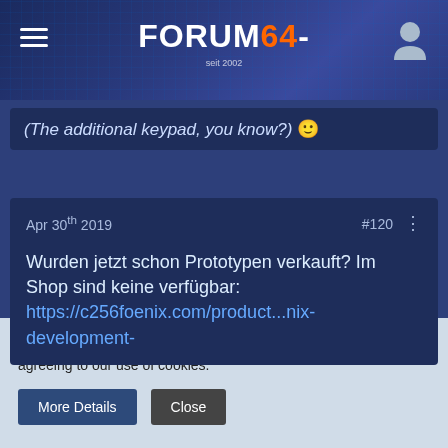FORUM64- (seit 2002)
(The additional keypad, you know?) 🙂
DJ SID
master
★★★★
Apr 30th 2019   #120
Wurden jetzt schon Prototypen verkauft? Im Shop sind keine verfügbar: https://c256foenix.com/product...nix-development-
This site uses cookies. By continuing to browse this site, you are agreeing to our use of cookies.